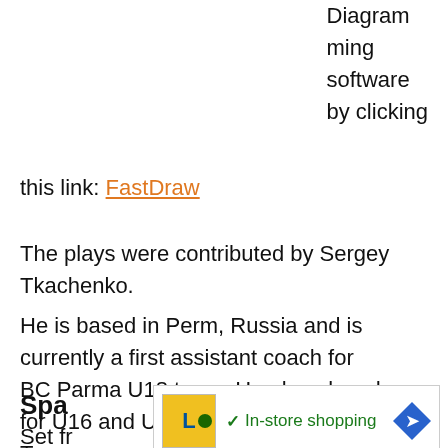Diagramming software by clicking this link: FastDraw
The plays were contributed by Sergey Tkachenko.
He is based in Perm, Russia and is currently a first assistant coach for BC Parma U18 team. He also played for U16 and U18 Russian National Teams.
Spa
Set fr... the gold m...